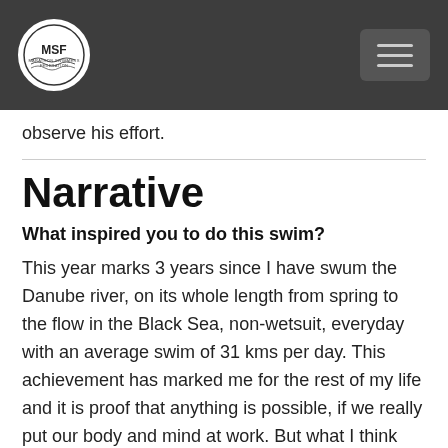MSF logo and navigation header
observe his effort.
Narrative
What inspired you to do this swim?
This year marks 3 years since I have swum the Danube river, on its whole length from spring to the flow in the Black Sea, non-wetsuit, everyday with an average swim of 31 kms per day. This achievement has marked me for the rest of my life and it is proof that anything is possible, if we really put our body and mind at work. But what I think my biggest achievement is that I have contributed to the visibility of open water swimming in a familiar river and environment that has marked our